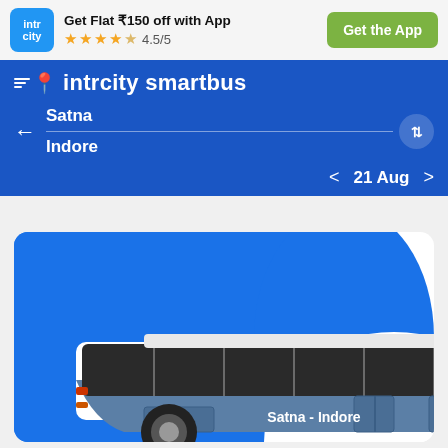[Figure (screenshot): IntrCity app logo - blue rounded square with 'intr city' text in white]
Get Flat ₹150 off with App
★★★★☆ 4.5/5
Get the App
intrcity smartbus
Satna
Indore
21 Aug
[Figure (illustration): Illustrated bus with 'Satna - Indore' text on its side, shown against a blue curved background]
Trip Overview